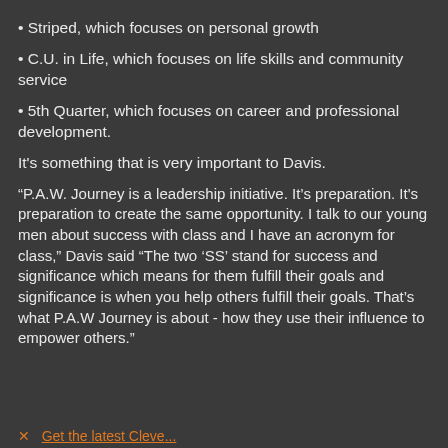• Striped, which focuses on personal growth
• C.U. in Life, which focuses on life skills and community service
• 5th Quarter, which focuses on career and professional development.
It's something that is very important to Davis.
“P.A.W. Journey is a leadership initiative. It’s preparation. It's preparation to create the same opportunity. I talk to our young men about success with class and I have an acronym for class,” Davis said “The two ‘SS’ stand for success and significance which means for them fulfill their goals and significance is when you help others fulfill their goals. That’s what P.A.W Journey is about - how they use their influence to empower others.”
Get the latest Cleve...